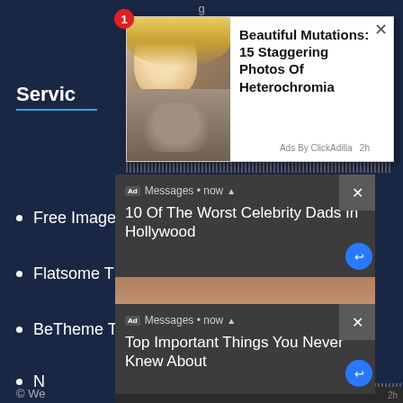[Figure (screenshot): Screenshot of a website with dark navy background showing a 'Services' section with bullet-point list, overlaid by multiple advertisement popups. Top popup shows 'Beautiful Mutations: 15 Staggering Photos Of Heterochromia' with a photo of a woman and dog. Two dark notification-style popups show '10 Of The Worst Celebrity Dads In Hollywood' and 'Top Important Things You Never Knew About'.]
Servic
Free Image Hosting
Flatsome Theme
BeTheme Theme
N
Th
Po
D
© We
Beautiful Mutations: 15 Staggering Photos Of Heterochromia
Ads By ClickAdilla   2h
Ad   Messages • now
10 Of The Worst Celebrity Dads In Hollywood
Ad   Messages • now
Top Important Things You Never Knew About